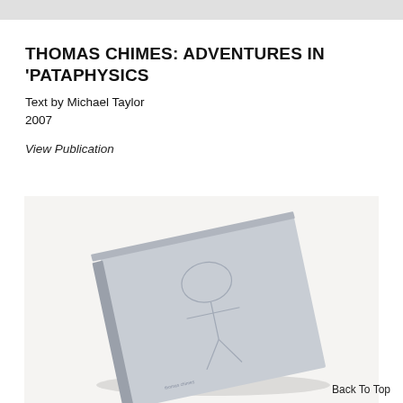THOMAS CHIMES: ADVENTURES IN 'PATAPHYSICS
Text by Michael Taylor
2007
View Publication
[Figure (photo): A light gray/silver book cover lying at an angle on a white surface, featuring an embossed or debossed line drawing of an abstract figure or face.]
Back To Top